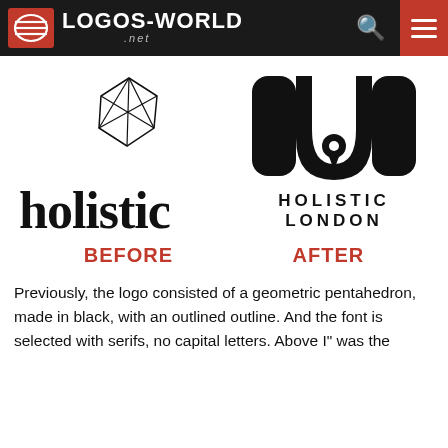LOGOS-WORLD .net
[Figure (logo): Holistic old logo: geometric pentahedron outline above the word 'holistic' in black serif font with no capital letters]
[Figure (logo): Holistic London new logo: bold black M-shaped icon with a map pin/circle element, with text 'HOLISTIC LONDON' below in spaced capitals]
BEFORE
AFTER
Previously, the logo consisted of a geometric pentahedron, made in black, with an outlined outline. And the font is selected with serifs, no capital letters. Above I" was the